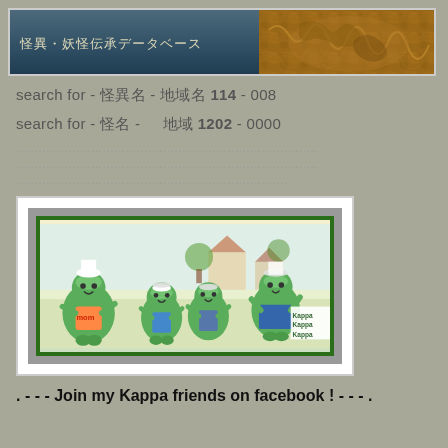怪異・妖怪伝承データベース
search for - 怪異名 - 地域名 114 - 008
search for - 怪名 -    地域 1202 - 0000
[Figure (illustration): Cartoon kappa (Japanese water creature) family characters - four green frog-like figures including mom, dad, and children, in a village scene background]
. - - - Join my Kappa friends on facebook ! - - - .